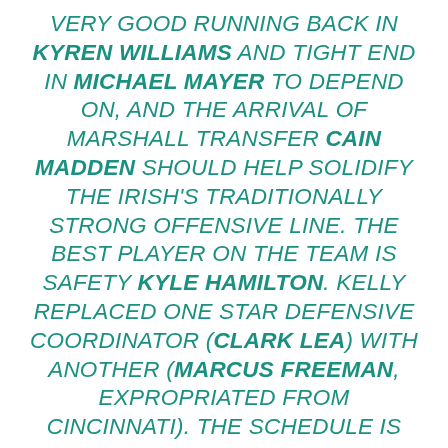VERY GOOD RUNNING BACK IN KYREN WILLIAMS AND TIGHT END IN MICHAEL MAYER TO DEPEND ON, AND THE ARRIVAL OF MARSHALL TRANSFER CAIN MADDEN SHOULD HELP SOLIDIFY THE IRISH'S TRADITIONALLY STRONG OFFENSIVE LINE. THE BEST PLAYER ON THE TEAM IS SAFETY KYLE HAMILTON. KELLY REPLACED ONE STAR DEFENSIVE COORDINATOR (CLARK LEA) WITH ANOTHER (MARCUS FREEMAN, EXPROPRIATED FROM CINCINNATI). THE SCHEDULE IS RIGOROUS." – FORDE